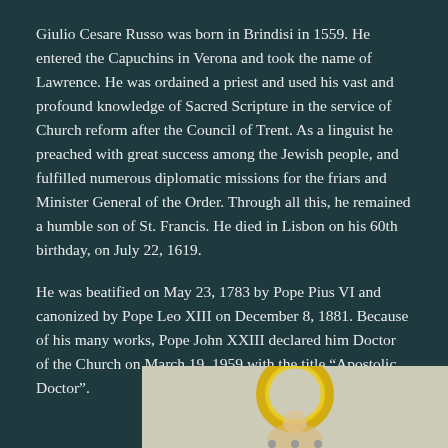Giulio Cesare Russo was born in Brindisi in 1559. He entered the Capuchins in Verona and took the name of Lawrence. He was ordained a priest and used his vast and profound knowledge of Sacred Scripture in the service of Church reform after the Council of Trent. As a linguist he preached with great success among the Jewish people, and fulfilled numerous diplomatic missions for the friars and Minister General of the Order. Through all this, he remained a humble son of St. Francis. He died in Lisbon on his 60th birthday, on July 22, 1619.
He was beatified on May 23, 1783 by Pope Pius VI and canonized by Pope Leo XIII on December 8, 1881. Because of his many works, Pope John XXIII declared him Doctor of the Church on March 19, 1959 with the title “Apostolic Doctor”.
[Figure (illustration): Partial illustration of a religious figure (saint) with a golden halo, cropped at bottom of page]